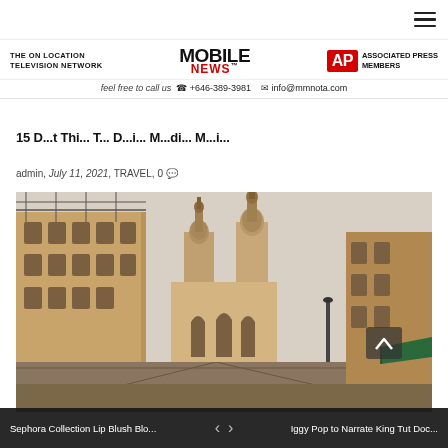THE ON LOCATION TELEVISION NETWORK | MOBILE NEWS™ | AP Associated Press MEMBERS | feel free to call us +646-389-3981 info@mmnota.com
15 D...t Thi... T... D...i... M...di... M...i...
admin, July 11, 2021, TRAVEL, 0
[Figure (photo): Street view of a historic colonial city with tall church towers and stone buildings along a narrow street, overcast sky]
Sephora Collection Lip Blush Blo... < > Iggy Pop to Narrate King Tut Doc...